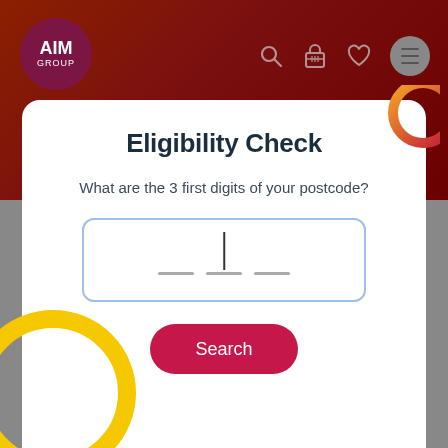[Figure (logo): AIM GROUP circular logo in dark red/maroon color with white text]
[Figure (screenshot): Navigation bar with search, basket, heart, and menu icons on dark red background]
Eligibility Check
What are the 3 first digits of your postcode?
[Figure (other): Postcode input field with cursor and three dash placeholders inside a rounded rectangle with blue border]
Search
Why do we ask this?